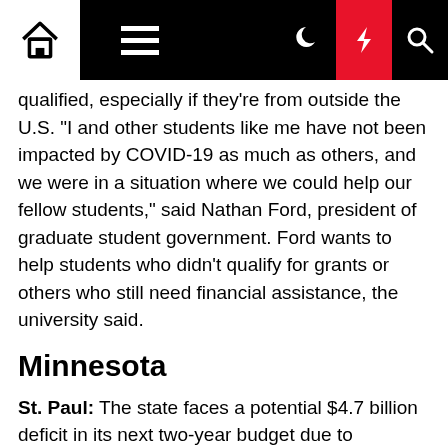[Navigation bar with home, menu, dark mode, lightning/breaking news, and search icons]
qualified, especially if they're from outside the U.S. "I and other students like me have not been impacted by COVID-19 as much as others, and we were in a situation where we could help our fellow students," said Nathan Ford, president of graduate student government. Ford wants to help students who didn't qualify for grants or others who still need financial assistance, the university said.
Minnesota
St. Paul: The state faces a potential $4.7 billion deficit in its next two-year budget due to continued economic fallout from the coronavirus pandemic, according to a new planning estimate from the Minnesota Management and Budget office. Management and Budget Commissioner Myron